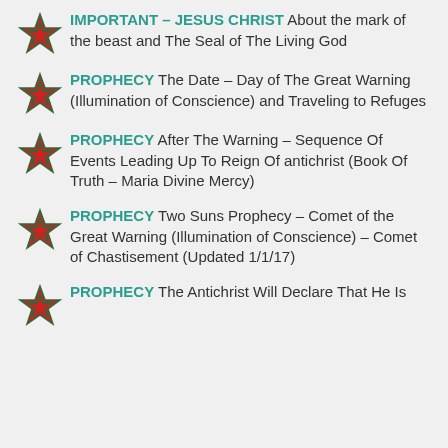IMPORTANT – JESUS CHRIST About the mark of the beast and The Seal of The Living God
PROPHECY The Date – Day of The Great Warning (Illumination of Conscience) and Traveling to Refuges
PROPHECY After The Warning – Sequence Of Events Leading Up To Reign Of antichrist (Book Of Truth – Maria Divine Mercy)
PROPHECY Two Suns Prophecy – Comet of the Great Warning (Illumination of Conscience) – Comet of Chastisement (Updated 1/1/17)
PROPHECY The Antichrist Will Declare That He Is